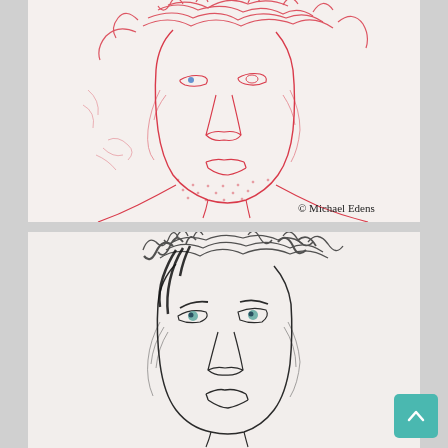[Figure (illustration): A loose expressive portrait sketch of a person drawn in red/pink ink lines on white paper. The face has disheveled hair, bold facial features, and gestural hatching marks. A small blue dot marks one eye. Caption reads '© Michael Edens'.]
[Figure (illustration): A loose expressive portrait sketch of a person drawn in black/dark charcoal or ink on white paper. The face has tousled hair with heavy cross-hatching, and the eyes are rendered with teal/blue color. The sketch uses bold gestural marks.]